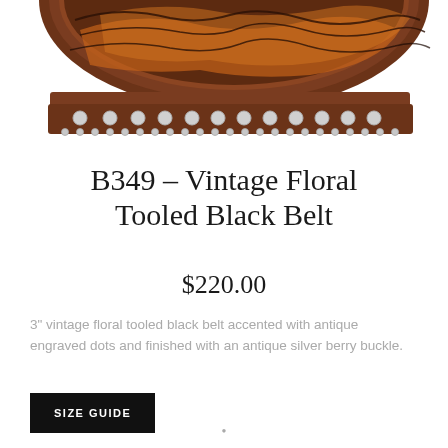[Figure (photo): Close-up photo of a vintage floral tooled brown leather belt with silver engraved dot accents along the edges, viewed from above showing the tooled design and studded trim.]
B349 – Vintage Floral Tooled Black Belt
$220.00
3" vintage floral tooled black belt accented with antique engraved dots and finished with an antique silver berry buckle.
SIZE GUIDE